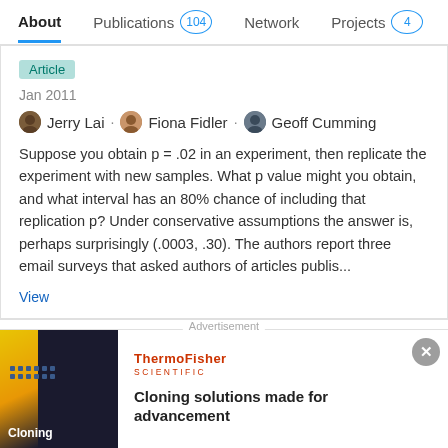About  Publications 104  Network  Projects 4
Article
Jan 2011
Jerry Lai · Fiona Fidler · Geoff Cumming
Suppose you obtain p = .02 in an experiment, then replicate the experiment with new samples. What p value might you obtain, and what interval has an 80% chance of including that replication p? Under conservative assumptions the answer is, perhaps surprisingly (.0003, .30). The authors report three email surveys that asked authors of articles publis...
View
The statistical recommendations of the American
[Figure (screenshot): Advertisement banner for ThermoFisher Scientific showing Cloning solutions made for advancement with dark blue background and yellow diagonal stripe]